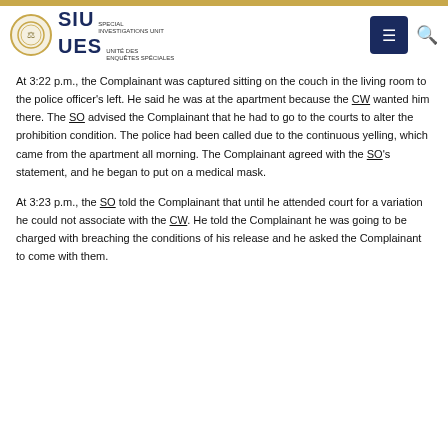SIU UES — Special Investigations Unit / Unité des enquêtes spéciales
At 3:22 p.m., the Complainant was captured sitting on the couch in the living room to the police officer's left. He said he was at the apartment because the CW wanted him there. The SO advised the Complainant that he had to go to the courts to alter the prohibition condition. The police had been called due to the continuous yelling, which came from the apartment all morning. The Complainant agreed with the SO's statement, and he began to put on a medical mask.
At 3:23 p.m., the SO told the Complainant that until he attended court for a variation he could not associate with the CW. He told the Complainant he was going to be charged with breaching the conditions of his release and he asked the Complainant to come with them.